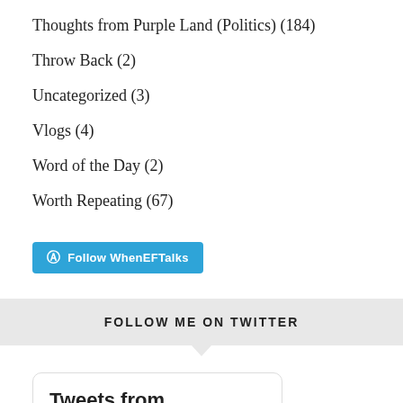Thoughts from Purple Land (Politics) (184)
Throw Back (2)
Uncategorized (3)
Vlogs (4)
Word of the Day (2)
Worth Repeating (67)
Follow WhenEFTalks
FOLLOW ME ON TWITTER
Tweets from @ericfolkerth